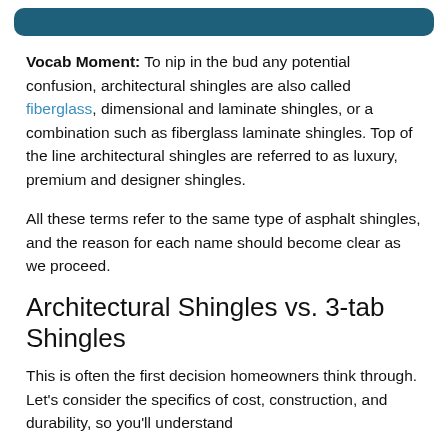[Figure (other): Teal/dark blue rounded rectangle header bar]
Vocab Moment: To nip in the bud any potential confusion, architectural shingles are also called fiberglass, dimensional and laminate shingles, or a combination such as fiberglass laminate shingles. Top of the line architectural shingles are referred to as luxury, premium and designer shingles.
All these terms refer to the same type of asphalt shingles, and the reason for each name should become clear as we proceed.
Architectural Shingles vs. 3-tab Shingles
This is often the first decision homeowners think through. Let’s consider the specifics of cost, construction, and durability, so you’ll understand